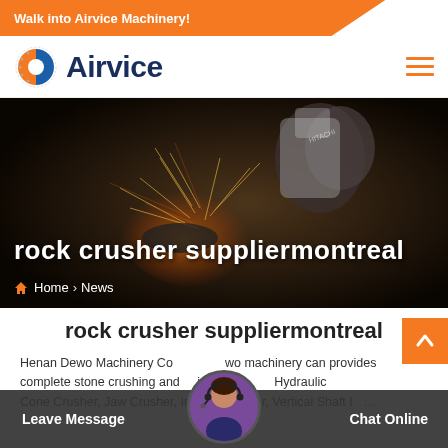Walk into Airvice Machinery!
[Figure (logo): Airvice logo with orange and blue circular icon and bold dark blue text 'Airvice']
[Figure (photo): Close-up photo of industrial grinder/crusher machinery with sparks flying, dark background with orange glow]
rock crusher suppliermontreal
Home > News
rock crusher suppliermontreal
Henan Dewo Machinery Co. two machinery can provides complete stone crushing and screening line, including Hydraulic Cone Crusher, Jaw Crusher, Impact Crusher, Vertical Shaft Impact…
Leave Message  Chat Online